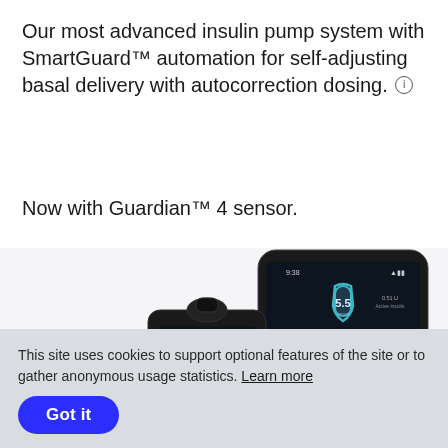Our most advanced insulin pump system with SmartGuard™ automation for self-adjusting basal delivery with autocorrection dosing. ⓘ
Now with Guardian™ 4 sensor.
[Figure (photo): Medtronic insulin pump device and smartphone showing SmartGuard app interface with glucose readings displaying 5.5 and a green shield icon, with CGM graph showing pink/purple trend line over green safe zone.]
This site uses cookies to support optional features of the site or to gather anonymous usage statistics. Learn more
Got it